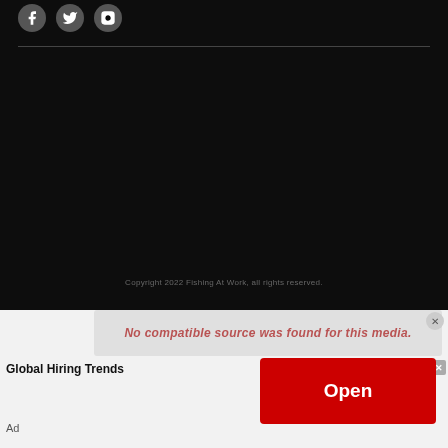[Figure (screenshot): Dark website footer with social media icons (Facebook, Twitter, Instagram) and a horizontal divider line]
Copyright 2022 Fishing At Work, all rights reserved.
[Figure (screenshot): Advertisement banner area with blurred/obscured text in italic red, showing Global Hiring Trends ad with Open button in red]
Global Hiring Trends
Ad